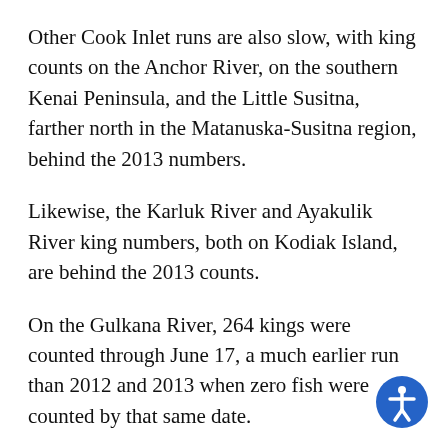Other Cook Inlet runs are also slow, with king counts on the Anchor River, on the southern Kenai Peninsula, and the Little Susitna, farther north in the Matanuska-Susitna region, behind the 2013 numbers.
Likewise, the Karluk River and Ayakulik River king numbers, both on Kodiak Island, are behind the 2013 counts.
On the Gulkana River, 264 kings were counted through June 17, a much earlier run than 2012 and 2013 when zero fish were counted by that same date.
Throughout the Arctic-Yukon-Kuskokwim region, king returns are, once again, poor, and fishing is severely limited.